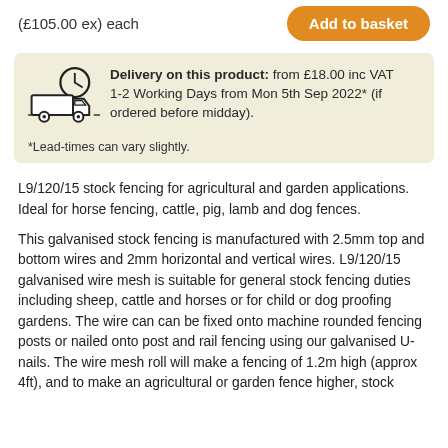(£105.00 ex) each
Add to basket
Delivery on this product: from £18.00 inc VAT 1-2 Working Days from Mon 5th Sep 2022* (if ordered before midday).
*Lead-times can vary slightly.
L9/120/15 stock fencing for agricultural and garden applications. Ideal for horse fencing, cattle, pig, lamb and dog fences.
This galvanised stock fencing is manufactured with 2.5mm top and bottom wires and 2mm horizontal and vertical wires. L9/120/15 galvanised wire mesh is suitable for general stock fencing duties including sheep, cattle and horses or for child or dog proofing gardens. The wire can can be fixed onto machine rounded fencing posts or nailed onto post and rail fencing using our galvanised U-nails. The wire mesh roll will make a fencing of 1.2m high (approx 4ft), and to make an agricultural or garden fence higher, stock